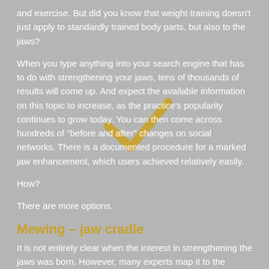and exercise. But did you know that weight training doesn't just apply to standardly trained body parts, but also to the jaws?
When you type anything into your search engine that has to do with strengthening your jaws, tens of thousands of results will come up. And expect the available information on this topic to increase, as the practice's popularity continues to grow today. You can then come across hundreds of "before and after" changes on social networks. There is a documented procedure for a marked jaw enhancement, which users achieved relatively easily.
How?
There are more options.
Mewing – jaw cradle
It is not entirely clear when the interest in strengthening the jaws was born. However, many experts map it to the 1970s, when orthodontist John Mew created the